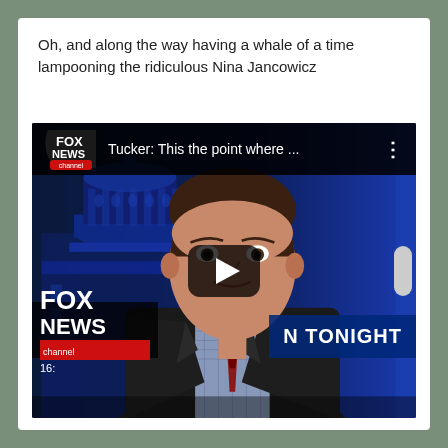Oh, and along the way having a whale of a time lampooning the ridiculous Nina Jancowicz
[Figure (screenshot): Screenshot of a YouTube video thumbnail showing a Fox News Tucker Carlson Tonight video with title 'Tucker: This the point where ...' and a play button overlay. The thumbnail shows Tucker Carlson sitting at a news desk with the US Capitol dome in the background and Fox News lower thirds branding.]